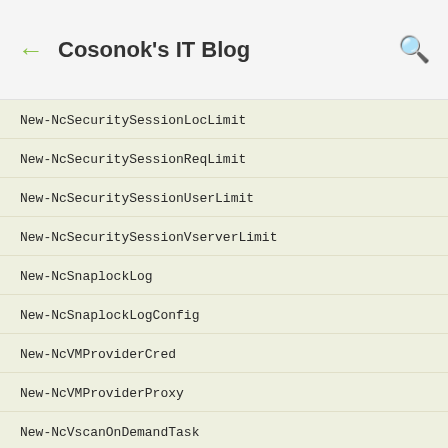Cosonok's IT Blog
New-NcSecuritySessionLocLimit
New-NcSecuritySessionReqLimit
New-NcSecuritySessionUserLimit
New-NcSecuritySessionVserverLimit
New-NcSnaplockLog
New-NcSnaplockLogConfig
New-NcVMProviderCred
New-NcVMProviderProxy
New-NcVscanOnDemandTask
Remove-NcCluster
Remove-NcEmsEventFilter